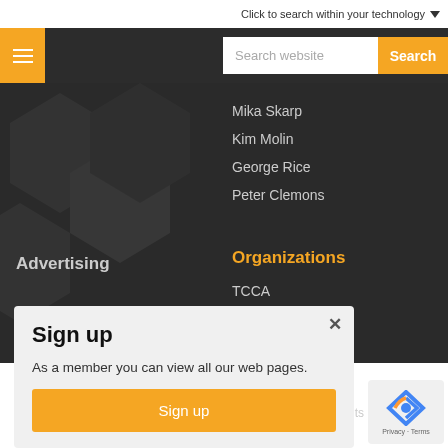Click to search within your technology ▼
[Figure (screenshot): Navigation bar with hamburger menu button in orange and search bar with orange Search button]
Mika Skarp
Kim Molin
George Rice
Peter Clemons
Advertising
Organizations
TCCA
Sign up
As a member you can view all our web pages.
Sign up